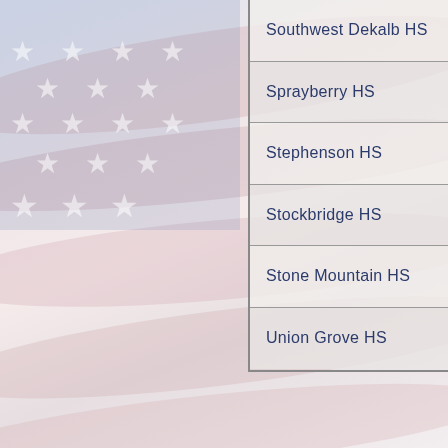[Figure (illustration): American flag background with waving red and white stripes and blue canton with white stars, faded/washed out overlay effect]
| Southwest Dekalb HS |
| Sprayberry HS |
| Stephenson HS |
| Stockbridge HS |
| Stone Mountain HS |
| Union Grove HS |